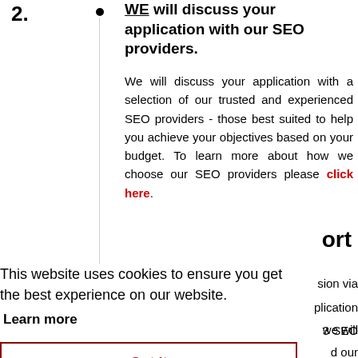2. WE will discuss your application with our SEO providers. We will discuss your application with a selection of our trusted and experienced SEO providers - those best suited to help you achieve your objectives based on your budget. To learn more about how we choose our SEO providers please click here.
ort
This website uses cookies to ensure you get the best experience on our website.
Learn more
Got it
sion via
plication
we will
3 SEO
d our
contribution amount.